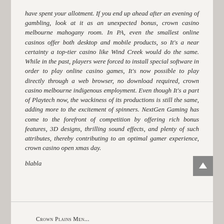have spent your allotment. If you end up ahead after an evening of gambling, look at it as an unexpected bonus, crown casino melbourne mahogany room. In PA, even the smallest online casinos offer both desktop and mobile products, so It's a near certainty a top-tier casino like Wind Creek would do the same. While in the past, players were forced to install special software in order to play online casino games, It's now possible to play directly through a web browser, no download required, crown casino melbourne indigenous employment. Even though It's a part of Playtech now, the wackiness of its productions is still the same, adding more to the excitement of spinners. NextGen Gaming has come to the forefront of competition by offering rich bonus features, 3D designs, thrilling sound effects, and plenty of such attributes, thereby contributing to an optimal gamer experience, crown casino open xmas day.
blabla
Crown Plains Men...